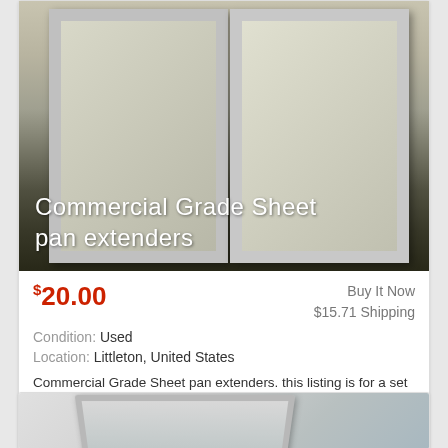[Figure (photo): Photo of commercial grade sheet pan extenders — two aluminum rectangular frames leaning against a wall]
Commercial Grade Sheet pan extenders
$20.00
Buy It Now
$15.71 Shipping
Condition: Used
Location: Littleton, United States
Commercial Grade Sheet pan extenders. this listing is for a set of 2 extenders which are half sheet size. These items may have been used once. They still ...
more
[Figure (photo): Partial photo of a metal baking sheet pan]